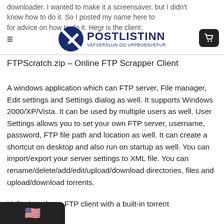downloader. I wanted to make it a screensaver, but I didn't know how to do it. So I posted my name here to ask for advice on how to do it. Here is the client:
FTPScratch.zip – Online FTP Scrapper Client
A windows application which can FTP server, File manager, Edit settings and Settings dialog as well. It supports Windows 2000/XP/Vista. It can be used by multiple users as well. User Settings allows you to set your own FTP server, username, password, FTP file path and location as well. It can create a shortcut on desktop and also run on startup as well. You can import/export your server settings to XML file. You can rename/delete/add/edit/upload/download directories, files and upload/download torrents.
Hello, I made an FTP client with a built-in torrent 1d6a…6